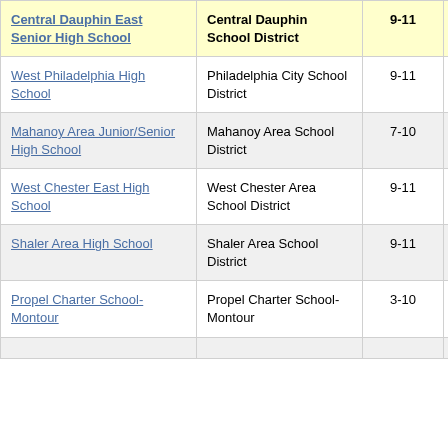| School | District | Grades | Score |  |
| --- | --- | --- | --- | --- |
| Central Dauphin East Senior High School | Central Dauphin School District | 9-11 | -3.4 |  |
| West Philadelphia High School | Philadelphia City School District | 9-11 | -3.4 |  |
| Mahanoy Area Junior/Senior High School | Mahanoy Area School District | 7-10 | -2.9 |  |
| West Chester East High School | West Chester Area School District | 9-11 | -1.7 |  |
| Shaler Area High School | Shaler Area School District | 9-11 | -1.6 |  |
| Propel Charter School-Montour | Propel Charter School-Montour | 3-10 | -3.4 |  |
| ... | ... |  |  |  |